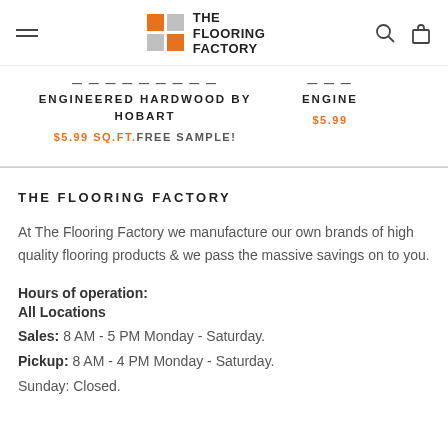The Flooring Factory — navigation header with logo
ENGINEERED HARDWOOD BY HOBART
$5.99 SQ.FT. FREE SAMPLE!
THE FLOORING FACTORY
At The Flooring Factory we manufacture our own brands of high quality flooring products & we pass the massive savings on to you.
Hours of operation:
All Locations
Sales: 8 AM - 5 PM Monday - Saturday.
Pickup: 8 AM - 4 PM Monday - Saturday.
Sunday: Closed.